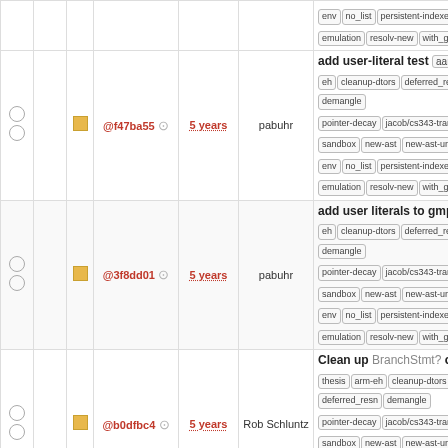|  |  |  | commit | age | author | description |
| --- | --- | --- | --- | --- | --- | --- |
| ○ ○ | ■ | @f47ba55 | 5 years | pabuhr | add user-literal test | aaron-thesis | eh | cleanup-dtors | deferred_resn | demangle | pointer-decay | jacob/cs343-trans | sandbox | new-ast | new-ast-uni | env | no_list | persistent-indexer | emulation | resolv-new | with_gc |
| ○ ○ | ■ | @3f8dd01 | 5 years | pabuhr | add user literals to gmp | aaron-thesis | eh | cleanup-dtors | deferred_resn | demangle | pointer-decay | jacob/cs343-trans | sandbox | new-ast | new-ast-uni | env | no_list | persistent-indexer | emulation | resolv-new | with_gc |
| ○ ○ | ■ | @b0dfbc4 | 5 years | Rob Schluntz | Clean up BranchStmt? code | thesis | arm-eh | cleanup-dtors | deferred_resn | demangle | pointer-decay | jacob/cs343-trans | sandbox | new-ast | new-ast-uni | env | no_list | persistent-indexer | emulation | resolv-new | with_gc |
| ○ ○ | ■ | @5809461 | 5 years | Rob Schluntz | Fix handling of GCC label and computed goto | aaron-thesis | eh | cleanup-dtors | deferred_resn | demangle | pointer-decay | jacob/cs343-trans | sandbox | new-ast | new-ast-uni | env | no_list | persistent-indexer | emulation | resolv-new | with_gc |
| ○ ○ | ■ |  |  |  | Implement multi-declaration and update test | aaron-thesis | eh | cleanup- |